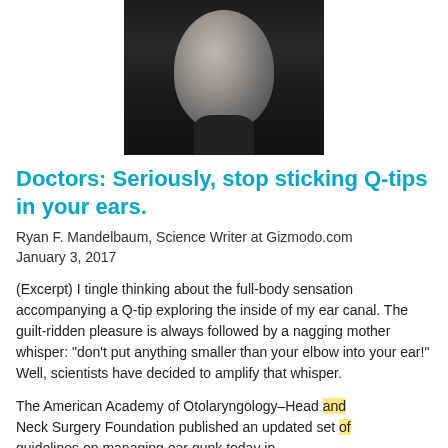[Figure (photo): Black and white portrait photo of a man from shoulders up, wearing a black shirt, with a nose piercing, against a dark background.]
Doctors: Seriously, stop sticking Q-tips in your ears.
Ryan F. Mandelbaum, Science Writer at Gizmodo.com
January 3, 2017
(Excerpt) I tingle thinking about the full-body sensation accompanying a Q-tip exploring the inside of my ear canal. The guilt-ridden pleasure is always followed by a nagging mother whisper: "don't put anything smaller than your elbow into your ear!" Well, scientists have decided to amplify that whisper.
The American Academy of Otolaryngology–Head and Neck Surgery Foundation published an updated set of guidelines on managing ear gunk today in